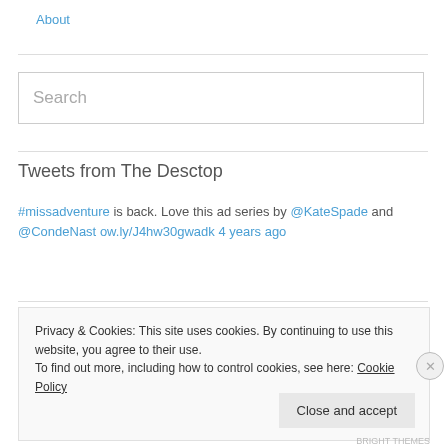About
#missadventure is back. Love this ad series by @KateSpade and @CondeNast ow.ly/J4hw30gwadk 4 years ago
Tweets from The Desctop
Privacy & Cookies: This site uses cookies. By continuing to use this website, you agree to their use.
To find out more, including how to control cookies, see here: Cookie Policy
Close and accept